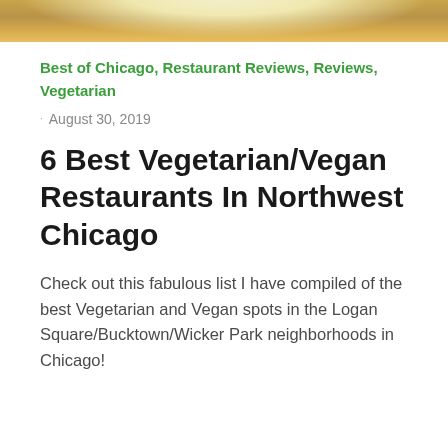[Figure (photo): Top portion of a food photo showing a wooden surface and a light-colored round dish or bowl, cropped at the top of the page]
Best of Chicago, Restaurant Reviews, Reviews, Vegetarian
August 30, 2019
6 Best Vegetarian/Vegan Restaurants In Northwest Chicago
Check out this fabulous list I have compiled of the best Vegetarian and Vegan spots in the Logan Square/Bucktown/Wicker Park neighborhoods in Chicago!